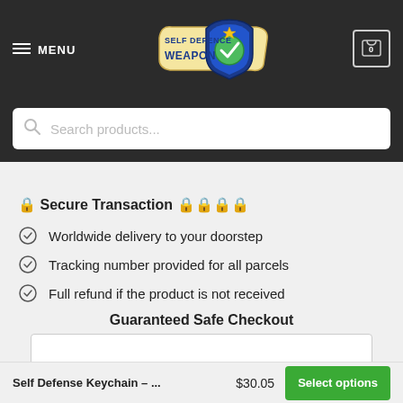MENU | Self Defence Weapon | 0
Search products...
🔒 Secure Transaction 🔒🔒🔒🔒
Worldwide delivery to your doorstep
Tracking number provided for all parcels
Full refund if the product is not received
Guaranteed Safe Checkout
Self Defense Keychain – ...  $30.05  Select options